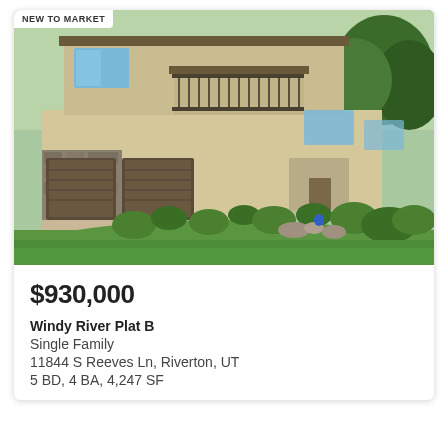[Figure (photo): Exterior photo of a large two-story residential home with stone accents, three-car garage, balcony with railings, and well-landscaped front yard with green lawn, shrubs, and garden beds. Badge overlay in top-left reads 'NEW TO MARKET'.]
$930,000
Windy River Plat B
Single Family
11844 S Reeves Ln, Riverton, UT
5 BD, 4 BA, 4,247 SF